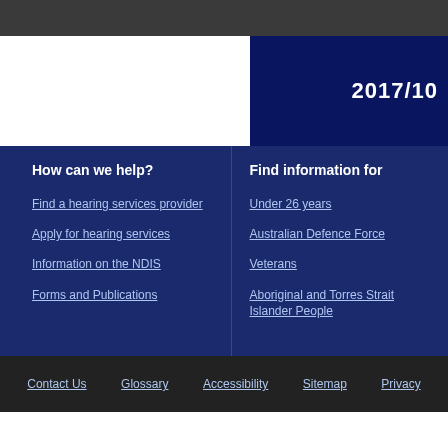2017/10
How can we help?
Find a hearing services provider
Apply for hearing services
Information on the NDIS
Forms and Publications
Find information for
Under 26 years
Australian Defence Force
Veterans
Aboriginal and Torres Strait Islander People
Contact Us   Glossary   Accessibility   Sitemap   Privacy